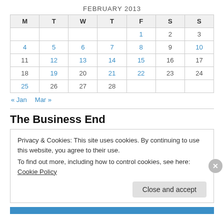FEBRUARY 2013
| M | T | W | T | F | S | S |
| --- | --- | --- | --- | --- | --- | --- |
|  |  |  |  | 1 | 2 | 3 |
| 4 | 5 | 6 | 7 | 8 | 9 | 10 |
| 11 | 12 | 13 | 14 | 15 | 16 | 17 |
| 18 | 19 | 20 | 21 | 22 | 23 | 24 |
| 25 | 26 | 27 | 28 |  |  |  |
« Jan   Mar »
The Business End
Privacy & Cookies: This site uses cookies. By continuing to use this website, you agree to their use.
To find out more, including how to control cookies, see here: Cookie Policy
Close and accept